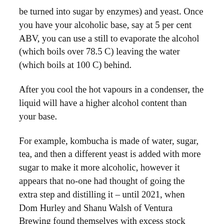be turned into sugar by enzymes) and yeast. Once you have your alcoholic base, say at 5 per cent ABV, you can use a still to evaporate the alcohol (which boils over 78.5 C) leaving the water (which boils at 100 C) behind.
After you cool the hot vapours in a condenser, the liquid will have a higher alcohol content than your base.
For example, kombucha is made of water, sugar, tea, and then a different yeast is added with more sugar to make it more alcoholic, however it appears that no-one had thought of going the extra step and distilling it – until 2021, when Dom Hurley and Shanu Walsh of Ventura Brewing found themselves with excess stock during lockdowns and asked nano-distillery Cabarita Spirits to give it a go, in what they say is a ‘world’s first’.
Apparently the resulting ‘Goodtime Moonshine’ has a ‘bright vibrancy and floral citrus flavour’ with ‘elderflower, lemon...